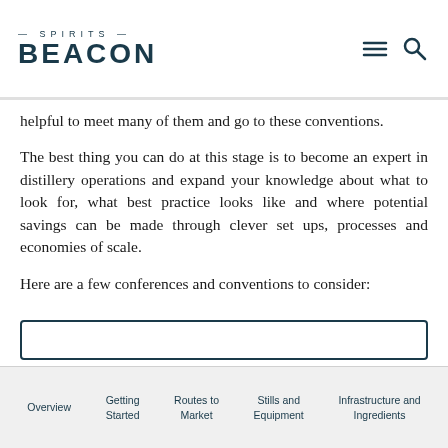SPIRITS BEACON
helpful to meet many of them and go to these conventions.
The best thing you can do at this stage is to become an expert in distillery operations and expand your knowledge about what to look for, what best practice looks like and where potential savings can be made through clever set ups, processes and economies of scale.
Here are a few conferences and conventions to consider:
Overview | Getting Started | Routes to Market | Stills and Equipment | Infrastructure and Ingredients